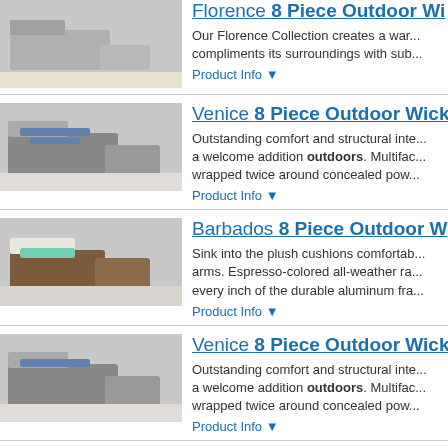[Figure (photo): Florence outdoor wicker sectional sofa set photo]
Florence 8 Piece Outdoor Wi...
Our Florence Collection creates a war... compliments its surroundings with sub...
Product Info ▼
[Figure (photo): Venice outdoor wicker sectional sofa set photo]
Venice 8 Piece Outdoor Wick...
Outstanding comfort and structural inte... a welcome addition outdoors. Multifac... wrapped twice around concealed pow...
Product Info ▼
[Figure (photo): Barbados outdoor wicker sectional sofa set photo]
Barbados 8 Piece Outdoor W...
Sink into the plush cushions comfortab... arms. Espresso-colored all-weather ra... every inch of the durable aluminum fra...
Product Info ▼
[Figure (photo): Venice 8 Piece outdoor wicker sectional sofa set photo]
Venice 8 Piece Outdoor Wick...
Outstanding comfort and structural inte... a welcome addition outdoors. Multifac... wrapped twice around concealed pow...
Product Info ▼
[Figure (photo): Miami outdoor wicker sectional sofa set photo]
Miami 8 Piece Outdoor Wicke...
The Miami is an elegant, fresh palette... to suit your every mood. With its sleek wicker and Sail White cushions, it is th...